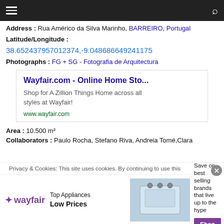navigation bar with hamburger menu and search icon
Address : Rua Américo da Silva Marinho, BARREIRO, Portugal
Latitude/Longitude :
38.652437957012374,-9.048686649241175
Photographs : FG + SG - Fotografia de Arquitectura
[Figure (screenshot): Wayfair advertisement box: 'Wayfair.com - Online Home Sto...' title in blue, 'Shop for A Zillion Things Home across all styles at Wayfair!' body text, www.wayfair.com URL in green]
Area : 10.500 m²
Collaborators : Paulo Rocha, Stefano Riva, Andreia Tomé,Clara
Privacy & Cookies: This site uses cookies. By continuing to use this
[Figure (screenshot): Wayfair banner ad: wayfair logo, Top Appliances Low Prices text, appliance image, Save on best selling brands that live up to the hype, Shop now purple button]